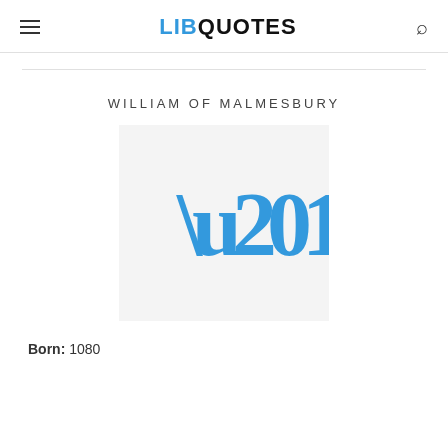LIBQUOTES
WILLIAM OF MALMESBURY
[Figure (illustration): Light gray square placeholder image with large blue quotation marks (open double quotes) centered inside]
Born: 1080